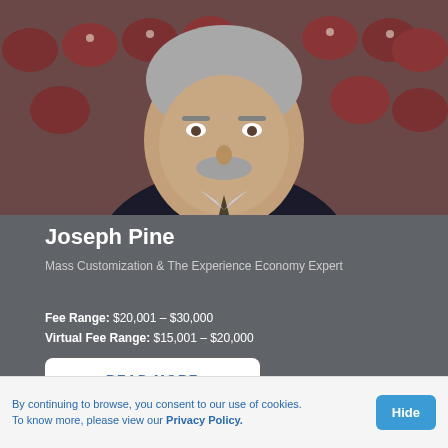[Figure (photo): Professional headshot of Joseph Pine, a middle-aged man with a gray beard wearing a dark suit and tie, seated in front of red theater seats]
Joseph Pine
Mass Customization & The Experience Economy Expert
Fee Range: $20,001 – $30,000
Virtual Fee Range: $15,001 – $20,000
READ MORE
By continuing to browse, you consent to our use of cookies. To know more, please view our Privacy Policy.